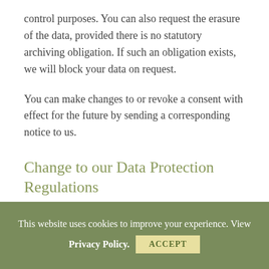control purposes. You can also request the erasure of the data, provided there is no statutory archiving obligation. If such an obligation exists, we will block your data on request.
You can make changes to or revoke a consent with effect for the future by sending a corresponding notice to us.
Change to our Data Protection Regulations
We reserve the right to adjust this data protection statement occasionally to ensure it complies with
This website uses cookies to improve your experience. View Privacy Policy. ACCEPT